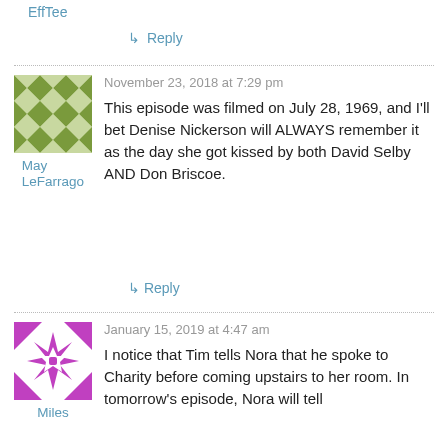EffTee
↳ Reply
November 23, 2018 at 7:29 pm
This episode was filmed on July 28, 1969, and I'll bet Denise Nickerson will ALWAYS remember it as the day she got kissed by both David Selby AND Don Briscoe.
May LeFarrago
↳ Reply
January 15, 2019 at 4:47 am
I notice that Tim tells Nora that he spoke to Charity before coming upstairs to her room. In tomorrow's episode, Nora will tell
Miles